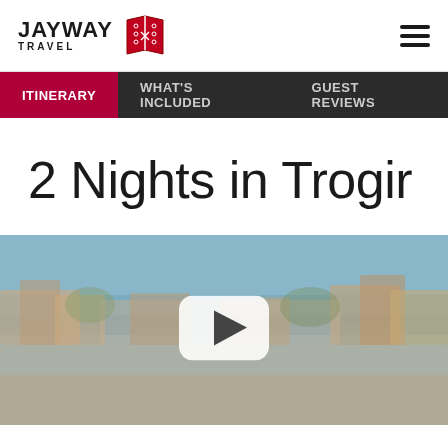JayWay Travel
ITINERARY | WHAT'S INCLUDED | GUEST REVIEWS
2 Nights in Trogir
[Figure (screenshot): Video thumbnail showing a blurred coastal town scene (Trogir, Croatia) with a YouTube-style play button in the center]